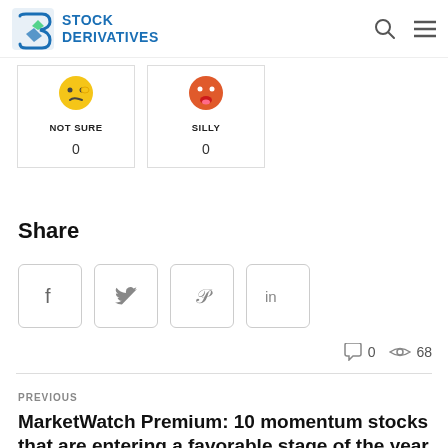STOCK DERIVATIVES
[Figure (other): Reaction cards showing NOT SURE (0) and SILLY (0) emoji reaction counts]
Share
[Figure (other): Social share buttons: Facebook, Twitter, Pinterest, LinkedIn]
0 comments, 68 views
PREVIOUS
MarketWatch Premium: 10 momentum stocks that are entering a favorable stage of the year